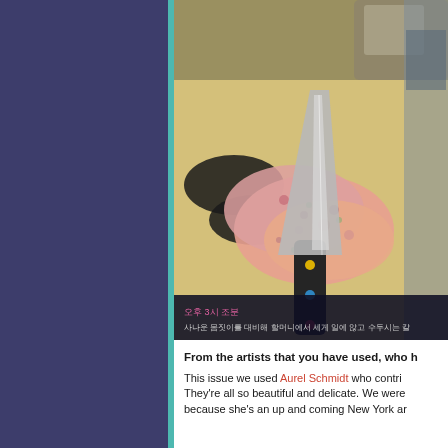[Figure (photo): Photograph of a large kitchen knife resting on a floral pink cloth/fabric on a wooden surface, with Korean text caption at the bottom reading lines in pink and gray text on dark background]
From the artists that you have used, who h
This issue we used Aurel Schmidt who contri They're all so beautiful and delicate. We were because she's an up and coming New York ar